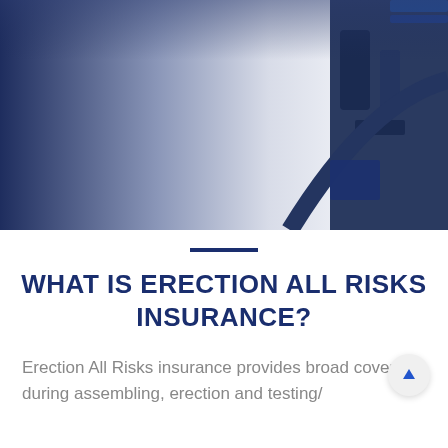[Figure (photo): Industrial machinery or equipment with dark navy blue tones on the left fading to light silver/white in the center, with blue equipment visible on the right side. The image appears to show turbine or industrial erection/assembly equipment.]
WHAT IS ERECTION ALL RISKS INSURANCE?
Erection All Risks insurance provides broad coverage during assembling, erection and testing/